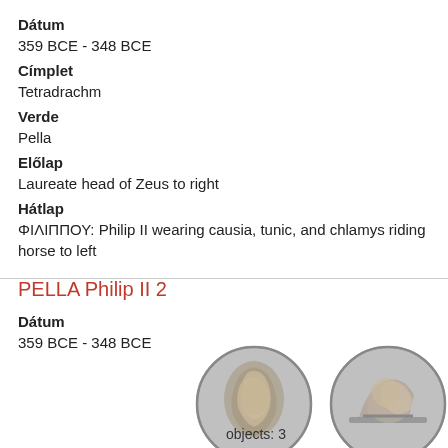Dátum
359 BCE - 348 BCE
Címplet
Tetradrachm
Verde
Pella
Előlap
Laureate head of Zeus to right
Hátlap
ΦΙΛΙΠΠΟΥ: Philip II wearing causia, tunic, and chlamys riding horse to left
PELLA Philip II 2
Dátum
359 BCE - 348 BCE
[Figure (photo): Two ancient silver coins: obverse showing laureate head profile to right, reverse showing Philip II on horseback riding left]
objects: 3